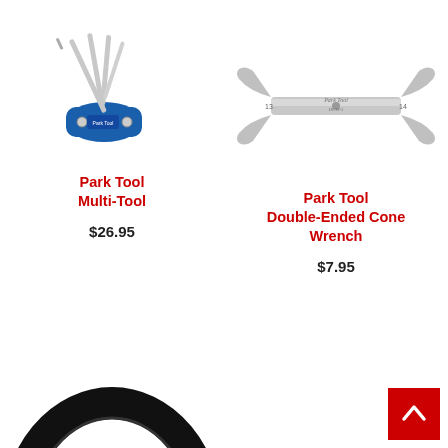[Figure (photo): Park Tool Multi-Tool folding bicycle tool with blue handle and multiple hex keys extended]
[Figure (photo): Park Tool Double-Ended Cone Wrench, silver/chrome flat wrench with open ends labeled 13 and 14]
Park Tool Multi-Tool
$26.95
Park Tool Double-Ended Cone Wrench
$7.95
[Figure (photo): Bottom portion of a black bicycle tire/wheel partially visible]
[Figure (illustration): Red back-to-top button with white upward chevron arrow in bottom-right corner]